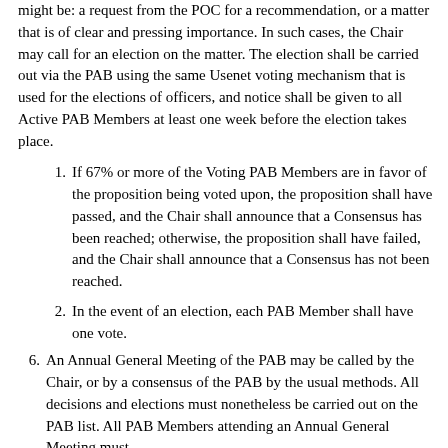might be: a request from the POC for a recommendation, or a matter that is of clear and pressing importance. In such cases, the Chair may call for an election on the matter. The election shall be carried out via the PAB using the same Usenet voting mechanism that is used for the elections of officers, and notice shall be given to all Active PAB Members at least one week before the election takes place.
If 67% or more of the Voting PAB Members are in favor of the proposition being voted upon, the proposition shall have passed, and the Chair shall announce that a Consensus has been reached; otherwise, the proposition shall have failed, and the Chair shall announce that a Consensus has not been reached.
In the event of an election, each PAB Member shall have one vote.
An Annual General Meeting of the PAB may be called by the Chair, or by a consensus of the PAB by the usual methods. All decisions and elections must nonetheless be carried out on the PAB list. All PAB Members attending an Annual General Meeting must